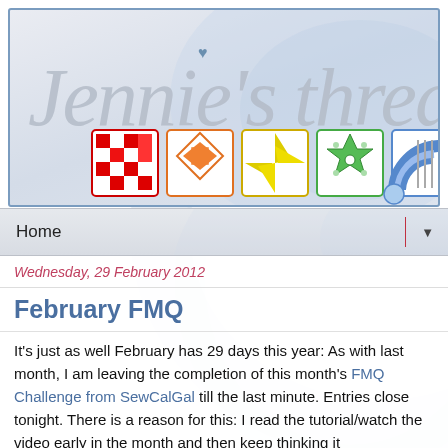[Figure (illustration): Blog header banner for 'Jennie's Threads' with cursive handwritten logo text and five colorful quilt block illustrations (red checkerboard, orange pinwheel, yellow pinwheel, green star, blue fan) on a light blue-grey background with blue border]
Home ▼
Wednesday, 29 February 2012
February FMQ
It's just as well February has 29 days this year: As with last month, I am leaving the completion of this month's FMQ Challenge from SewCalGal till the last minute. Entries close tonight. There is a reason for this: I read the tutorial/watch the video early in the month and then keep thinking it